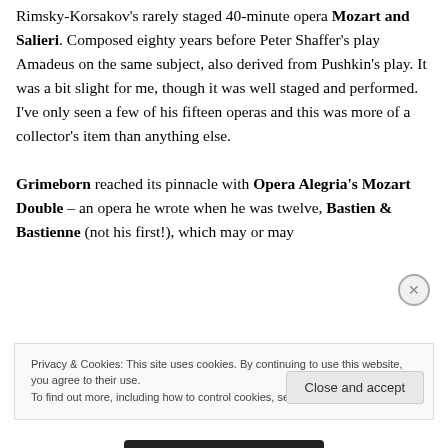Rimsky-Korsakov's rarely staged 40-minute opera Mozart and Salieri. Composed eighty years before Peter Shaffer's play Amadeus on the same subject, also derived from Pushkin's play. It was a bit slight for me, though it was well staged and performed. I've only seen a few of his fifteen operas and this was more of a collector's item than anything else.
Grimeborn reached its pinnacle with Opera Alegria's Mozart Double – an opera he wrote when he was twelve, Bastien & Bastienne (not his first!), which may or may
Privacy & Cookies: This site uses cookies. By continuing to use this website, you agree to their use.
To find out more, including how to control cookies, see here: Cookie Policy